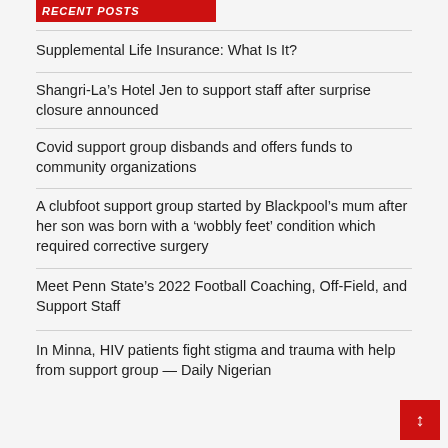Recent Posts
Supplemental Life Insurance: What Is It?
Shangri-La's Hotel Jen to support staff after surprise closure announced
Covid support group disbands and offers funds to community organizations
A clubfoot support group started by Blackpool's mum after her son was born with a 'wobbly feet' condition which required corrective surgery
Meet Penn State's 2022 Football Coaching, Off-Field, and Support Staff
In Minna, HIV patients fight stigma and trauma with help from support group — Daily Nigerian